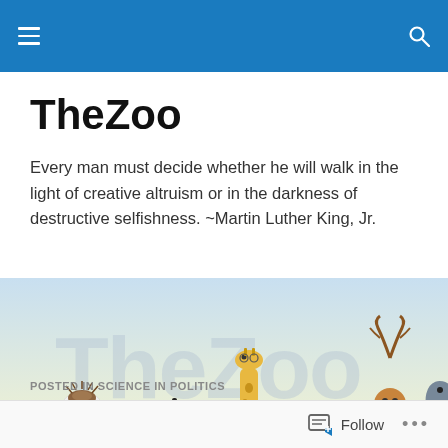TheZoo — site navigation header
TheZoo
Every man must decide whether he will walk in the light of creative altruism or in the darkness of destructive selfishness. ~Martin Luther King, Jr.
[Figure (illustration): Banner illustration of various cartoon animals grouped together including a polar bear, zebra, giraffe, wolf, deer, pelican, tiger, shark and others with watermark text 'TheZoo' in the background]
POSTED IN SCIENCE IN POLITICS
Follow ...